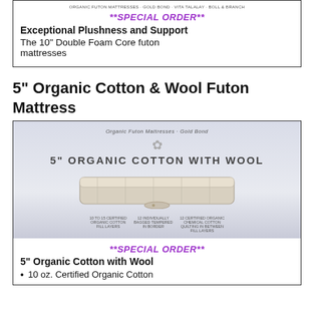[Figure (photo): Product listing box showing top portion of futon mattress product with special order label, title 'Exceptional Plushness and Support', and description text about 10 inch Double Foam Core futon mattresses]
5" Organic Cotton & Wool Futon Mattress
[Figure (photo): Product image of 5 inch Organic Cotton with Wool futon mattress, showing mattress layered product photograph with brand text 'Organic Futon Mattresses by Gold Bond' at top, cotton icon, large text '5" ORGANIC COTTON WITH WOOL', mattress image, and specs at bottom]
**SPECIAL ORDER**
5" Organic Cotton with Wool
10 oz. Certified Organic Cotton